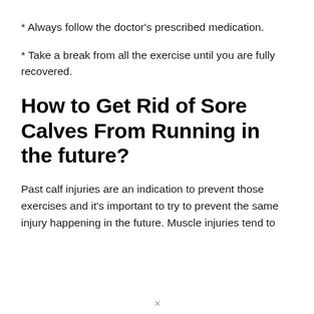* Always follow the doctor's prescribed medication.
* Take a break from all the exercise until you are fully recovered.
How to Get Rid of Sore Calves From Running in the future?
Past calf injuries are an indication to prevent those exercises and it's important to try to prevent the same injury happening in the future. Muscle injuries tend to